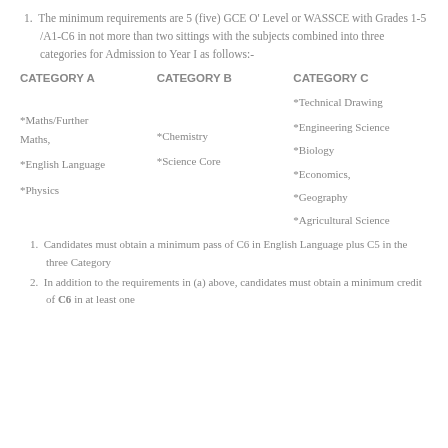The minimum requirements are 5 (five) GCE O' Level or WASSCE with Grades 1-5 /A1-C6 in not more than two sittings with the subjects combined into three categories for Admission to Year I as follows:-
| CATEGORY A | CATEGORY B | CATEGORY C |
| --- | --- | --- |
|  |  | *Technical Drawing |
| *Maths/Further Maths, |  | *Engineering Science |
|  | *Chemistry | *Biology |
| *English Language | *Science Core | *Economics, |
| *Physics |  | *Geography |
|  |  | *Agricultural Science |
Candidates must obtain a minimum pass of C6 in English Language plus C5 in the three Category
In addition to the requirements in (a) above, candidates must obtain a minimum credit of C6 in at least one